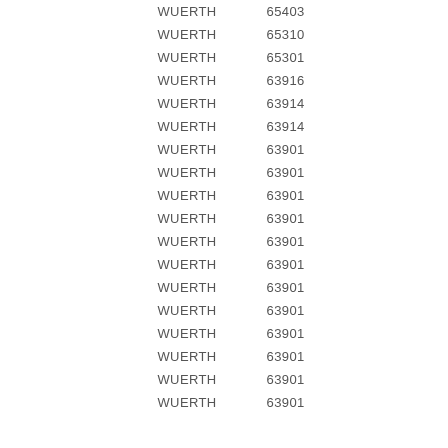| Name | Code |
| --- | --- |
| WUERTH | 65403 |
| WUERTH | 65310 |
| WUERTH | 65301 |
| WUERTH | 63916 |
| WUERTH | 63914 |
| WUERTH | 63914 |
| WUERTH | 63901 |
| WUERTH | 63901 |
| WUERTH | 63901 |
| WUERTH | 63901 |
| WUERTH | 63901 |
| WUERTH | 63901 |
| WUERTH | 63901 |
| WUERTH | 63901 |
| WUERTH | 63901 |
| WUERTH | 63901 |
| WUERTH | 63901 |
| WUERTH | 63901 |